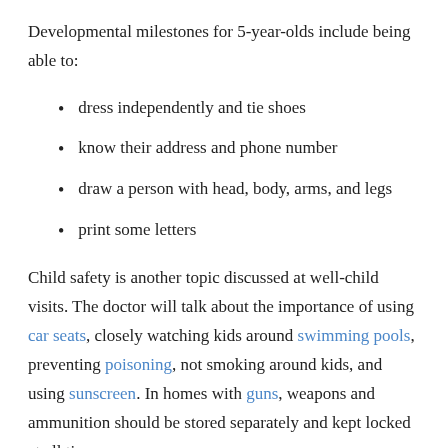Developmental milestones for 5-year-olds include being able to:
dress independently and tie shoes
know their address and phone number
draw a person with head, body, arms, and legs
print some letters
Child safety is another topic discussed at well-child visits. The doctor will talk about the importance of using car seats, closely watching kids around swimming pools, preventing poisoning, not smoking around kids, and using sunscreen. In homes with guns, weapons and ammunition should be stored separately and kept locked at all times.
When Should I Call the Doctor?